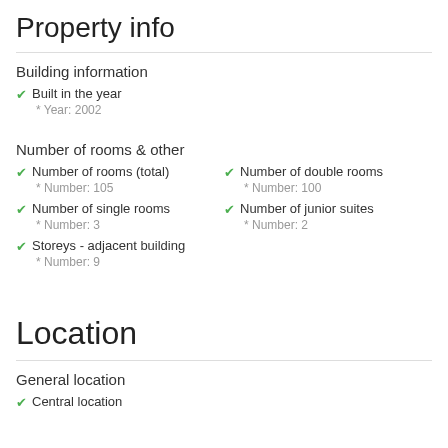Property info
Building information
✔ Built in the year
* Year: 2002
Number of rooms & other
✔ Number of rooms (total)
* Number: 105
✔ Number of double rooms
* Number: 100
✔ Number of single rooms
* Number: 3
✔ Number of junior suites
* Number: 2
✔ Storeys - adjacent building
* Number: 9
Location
General location
✔ Central location